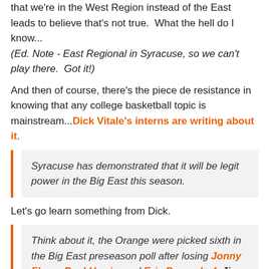that we're in the West Region instead of the East leads to believe that's not true. What the hell do I know... (Ed. Note - East Regional in Syracuse, so we can't play there. Got it!)
And then of course, there's the piece de resistance in knowing that any college basketball topic is mainstream...Dick Vitale's interns are writing about it.
Syracuse has demonstrated that it will be legit power in the Big East this season.
Let's go learn something from Dick.
Think about it, the Orange were picked sixth in the Big East preseason poll after losing Jonny Flynn, Paul Harris, and Eric Devendorf. Jim Boeheim has...